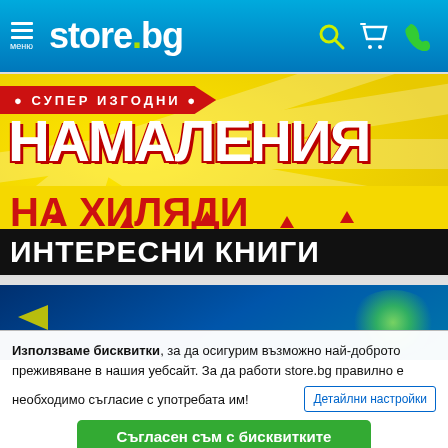[Figure (screenshot): store.bg navigation bar with hamburger menu icon, logo 'store.bg', search icon, cart icon, phone icon on blue gradient background]
[Figure (screenshot): Promotional banner on yellow background with red and black overlays. Text in Bulgarian: СУПЕР ИЗГОДНИ НАМАЛЕНИЯ НА ХИЛЯДИ ИНТЕРЕСНИ КНИГИ (Super good deals on thousands of interesting books)]
[Figure (screenshot): Second promotional banner with dark blue background, partially visible]
Използваме бисквитки, за да осигурим възможно най-доброто преживяване в нашия уебсайт. За да работи store.bg правилно е необходимо съгласие с употребата им!
Детайлни настройки
Съгласен съм с бисквитките